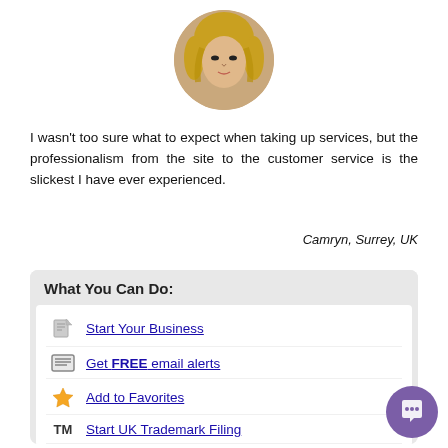[Figure (photo): Circular profile photo of a woman with blonde hair]
I wasn't too sure what to expect when taking up services, but the professionalism from the site to the customer service is the slickest I have ever experienced.
Camryn, Surrey, UK
What You Can Do:
Start Your Business
Get FREE email alerts
Add to Favorites
Start UK Trademark Filing
Custom Logo Design $99
Search on popular social networks